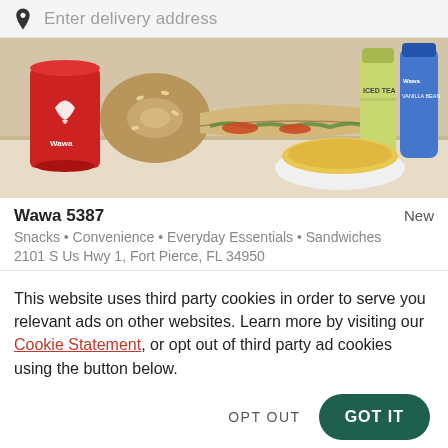Enter delivery address
[Figure (photo): Wawa food and drink products including a red cup with Wawa logo, bagel, sandwich, iced tea bottle, vanilla bean drink, and mac and cheese]
Wawa 5387
New
Snacks • Convenience • Everyday Essentials • Sandwiches
2101 S Us Hwy 1, Fort Pierce, FL 34950
This website uses third party cookies in order to serve you relevant ads on other websites. Learn more by visiting our Cookie Statement, or opt out of third party ad cookies using the button below.
OPT OUT
GOT IT